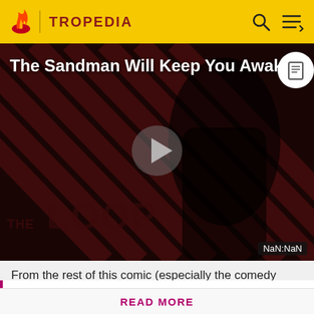[Figure (screenshot): Tropedia website header with yellow background, flame logo, TROPEDIA brand text, search icon and menu icon on the right.]
[Figure (screenshot): Video player thumbnail showing 'The Sandman Will Keep You Awake.' title text over a dark red striped background with a figure in black. A play button triangle is centered. 'THE LOOP' text visible at bottom. 'NaN:NaN' timestamp shown at bottom right.]
From the rest of this comic (especially the comedy
Before making a single edit, Tropedia EXPECTS our site policy and manual of style to be followed. Failure to do so may
READ MORE